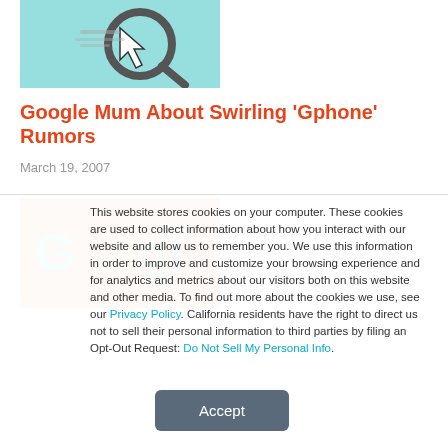[Figure (photo): A magnifying glass over a webpage screenshot, with a cursor arrow visible]
Google Mum About Swirling 'Gphone' Rumors
March 19, 2007
[Figure (photo): Google colorful logo on an orange/brown background]
This website stores cookies on your computer. These cookies are used to collect information about how you interact with our website and allow us to remember you. We use this information in order to improve and customize your browsing experience and for analytics and metrics about our visitors both on this website and other media. To find out more about the cookies we use, see our Privacy Policy. California residents have the right to direct us not to sell their personal information to third parties by filing an Opt-Out Request: Do Not Sell My Personal Info.